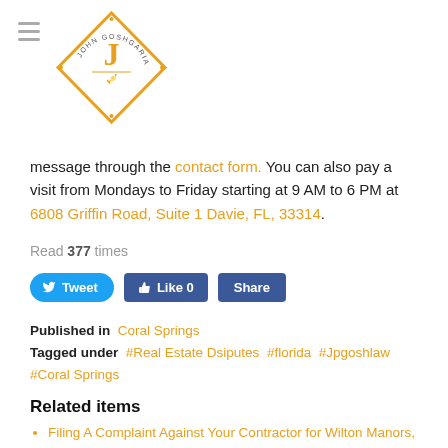[Figure (logo): John Goshgarian law firm logo — orange diamond shape with J letter and text JOHN GOSHGARIAN around it]
message through the contact form. You can also pay a visit from Mondays to Friday starting at 9 AM to 6 PM at 6808 Griffin Road, Suite 1 Davie, FL, 33314.
Read 377 times
Tweet | Like 0 | Share
Published in Coral Springs
Tagged under #Real Estate Dsiputes #florida #Jpgoshlaw #Coral Springs
Related items
Filing A Complaint Against Your Contractor for Wilton Manors, Florida Citizens